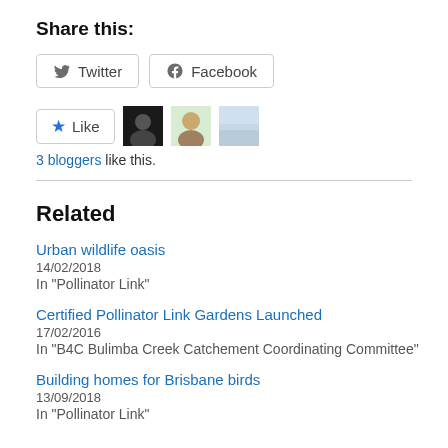Share this:
[Figure (other): Twitter and Facebook share buttons]
[Figure (other): Like button with 3 blogger avatars]
3 bloggers like this.
Related
Urban wildlife oasis
14/02/2018
In "Pollinator Link"
Certified Pollinator Link Gardens Launched
17/02/2016
In "B4C Bulimba Creek Catchement Coordinating Committee"
Building homes for Brisbane birds
13/09/2018
In "Pollinator Link"